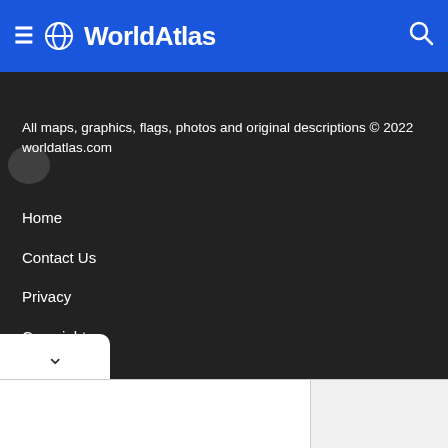WorldAtlas
All maps, graphics, flags, photos and original descriptions © 2022 worldatlas.com
Home
Contact Us
Privacy
Copyright
About Us
Fact Checking Policy
Corrections Policy
Ownership Policy